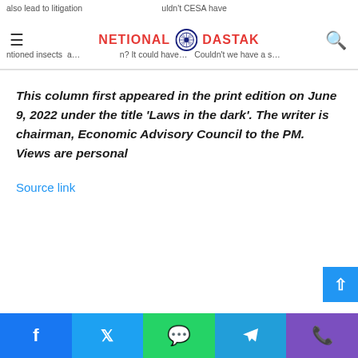also lead to litigation … uldn't CESA have … ntioned insects a… … n? It could have … Couldn't we have a s…
This column first appeared in the print edition on June 9, 2022 under the title ‘Laws in the dark’. The writer is chairman, Economic Advisory Council to the PM. Views are personal
Source link